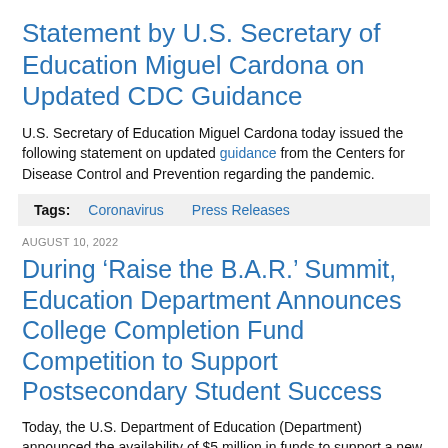Statement by U.S. Secretary of Education Miguel Cardona on Updated CDC Guidance
U.S. Secretary of Education Miguel Cardona today issued the following statement on updated guidance from the Centers for Disease Control and Prevention regarding the pandemic.
Tags: Coronavirus   Press Releases
AUGUST 10, 2022
During ‘Raise the B.A.R.’ Summit, Education Department Announces College Completion Fund Competition to Support Postsecondary Student Success
Today, the U.S. Department of Education (Department) announced the availability of $5 million in funds to support a new College Completion Fund for Postsecondary Student Success.
Tags: Press Releases